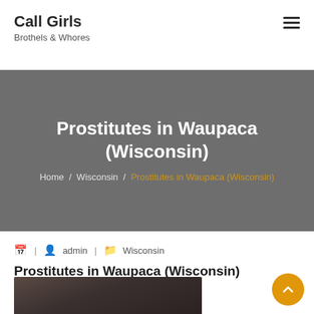Call Girls / Brothels & Whores
Prostitutes in Waupaca (Wisconsin)
Home / Wisconsin / Prostitutes in Waupaca (Wisconsin)
| admin | Wisconsin
Prostitutes in Waupaca (Wisconsin)
[Figure (photo): A person with dark hair in a dark-toned photograph]